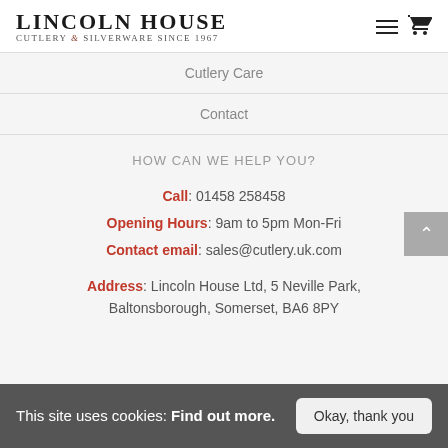Lincoln House Cutlery & Silverware Since 1967
Cutlery Care
Contact
HOW CAN WE HELP YOU?
Call: 01458 258458
Opening Hours: 9am to 5pm Mon-Fri
Contact email: sales@cutlery.uk.com
Address: Lincoln House Ltd, 5 Neville Park, Baltonsborough, Somerset, BA6 8PY
This site uses cookies: Find out more. Okay, thank you